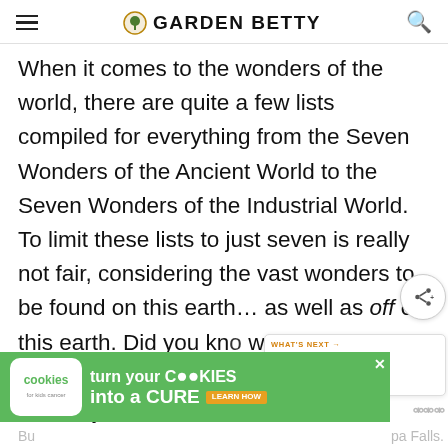GARDEN BETTY
When it comes to the wonders of the world, there are quite a few lists compiled for everything from the Seven Wonders of the Ancient World to the Seven Wonders of the Industrial World. To limit these lists to just seven is really not fair, considering the vast wonders to be found on this earth… as well as off of this earth. Did you know there's even a list for the Seven Wonders of the Solar System?
[Figure (infographic): Advertisement banner: 'cookies for kids cancer — turn your COOKIES into a CURE LEARN HOW']
Bu... pa Falls.